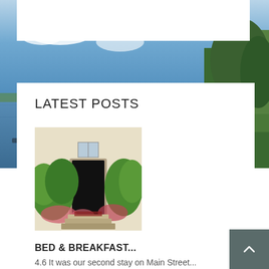[Figure (photo): Landscape background photo showing a lake with boats, blue sky with clouds, and green trees on the right side]
LATEST POSTS
[Figure (photo): Photo of a building entrance with lush green plants and flowers around the doorway]
BED & BREAKFAST...
4.6 It was our second stay on Main Street...
August 18, 2022
[Figure (photo): Group photo of several people standing together near a waterfront]